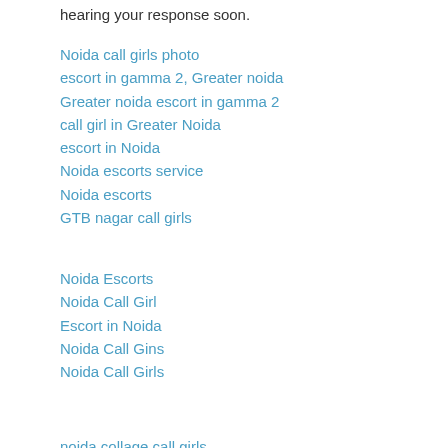hearing your response soon.
Noida call girls photo
escort in gamma 2, Greater noida
Greater noida escort in gamma 2
call girl in Greater Noida
escort in Noida
Noida escorts service
Noida escorts
GTB nagar call girls
Noida Escorts
Noida Call Girl
Escort in Noida
Noida Call Gins
Noida Call Girls
noida collage call girls
sex massage noida
sex massage in noida